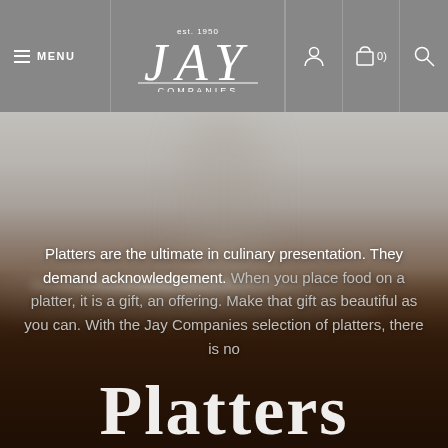≡ MENU | JAY est. 1950 COMPANIES | [user icon] | [cart icon] (0) | [search icon]
[Figure (photo): Blurred background photo of a dark wooden surface with a decorative silver/white platter holding small food items, set against a gray background. The lower half is dark brown/chocolate toned.]
Platters are the ultimate in culinary presentation. They demand acknowledgement. When you place food on a platter, it is a gift, an offering. Make that gift as beautiful as you can. With the Jay Companies selection of platters, there is no
Platters